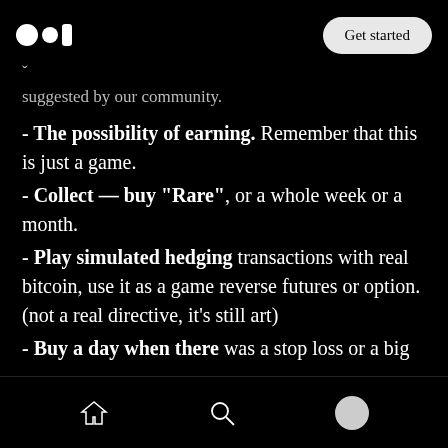Medium logo | Get started
suggested by our community.
- The possibility of earning. Remember that this is just a game.
- Collect — buy "Rare", or a whole week or a month.
- Play simulated hedging transactions with real bitcoin, use it as a game reverse futures or option. (not a real directive, it's still art)
- Buy a day when there was a stop loss or a big loss on this day in the past. Close mentally and emotionally a historic loss by buying back all day.
Home | Search | Profile